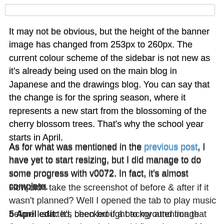It may not be obvious, but the height of the banner image has changed from 253px to 260px. The current colour scheme of the sidebar is not new as it’s already being used on the main blog in Japanese and the drawings blog. You can say that the change is for the spring season, where it represents a new start from the blossoming of the cherry blossom trees. That’s why the school year starts in April.
As for what was mentioned in the previous post, I have yet to start resizing, but I did manage to do some progress with v0072. In fact, it’s almost complete.
How did I take the screenshot of before & after if it wasn’t planned? Well I opened the tab to play music before I started, checked if a background image (now used as the header) would fit and so on. After I was done, I open a new tab after the change, but the version before the change is still open and did not press the refresh button.
5 April edit: It’s been brought to my attention that there is a